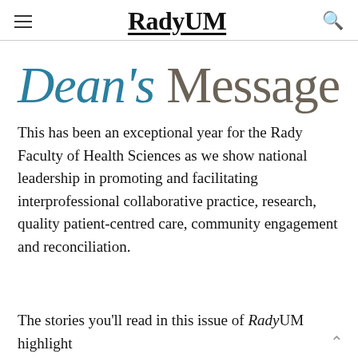RadyUM
Dean's Message
This has been an exceptional year for the Rady Faculty of Health Sciences as we show national leadership in promoting and facilitating interprofessional collaborative practice, research, quality patient-centred care, community engagement and reconciliation.
The stories you'll read in this issue of RadyUM highlight